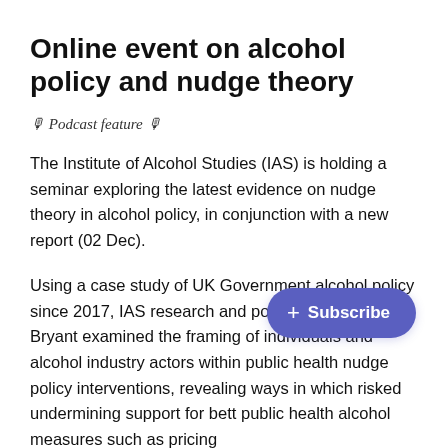Online event on alcohol policy and nudge theory
🎙 Podcast feature 🎙
The Institute of Alcohol Studies (IAS) is holding a seminar exploring the latest evidence on nudge theory in alcohol policy, in conjunction with a new report (02 Dec).
Using a case study of UK Government alcohol policy since 2017, IAS research and policy officer Lucy Bryant examined the framing of individuals and alcohol industry actors within public health nudge policy interventions, revealing ways in which risked undermining support for better public health alcohol measures such as pricing